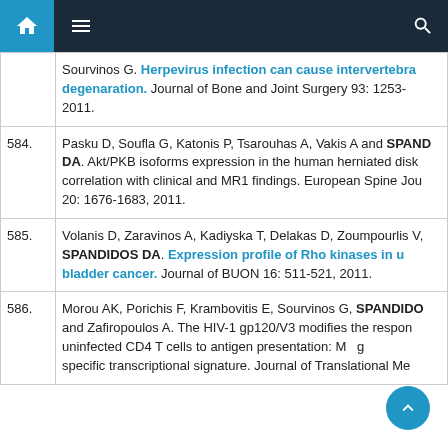Navigation bar with home, menu, and search icons
Sourvinos G. Herpevirus infection can cause intervertebral degenaration. Journal of Bone and Joint Surgery 93: 1253- 2011.
584. Pasku D, Soufla G, Katonis P, Tsarouhas A, Vakis A and SPANDIDOS DA. Akt/PKB isoforms expression in the human herniated disk correlation with clinical and MR1 findings. European Spine Journal 20: 1676-1683, 2011.
585. Volanis D, Zaravinos A, Kadiyska T, Delakas D, Zoumpourlis V, SPANDIDOS DA. Expression profile of Rho kinases in urothelial bladder cancer. Journal of BUON 16: 511-521, 2011.
586. Morou AK, Porichis F, Krambovitis E, Sourvinos G, SPANDIDOS DA and Zafiropoulos A. The HIV-1 gp120/V3 modifies the response of uninfected CD4 T cells to antigen presentation: Modelling of a specific transcriptional signature. Journal of Translational Medicine